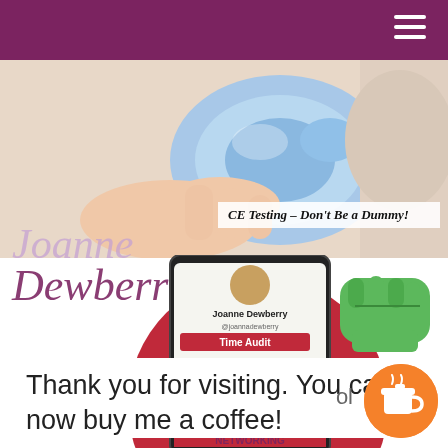[Figure (photo): Close-up photo of a hand holding a blue baby pacifier/soother against a light background]
CE Testing – Don't Be a Dummy!
[Figure (illustration): Joanne Dewberry logo/watermark text in italic serif font, purple tones]
[Figure (screenshot): Composite image: red circle background, phone screenshot showing Joanne Dewberry Time Audit product with BUY NOW £3.99 button, green fist illustration, networking text at bottom]
Thank you for visiting. You can now buy me a coffee!
[Figure (illustration): Orange circular Buy Me a Coffee button icon with coffee cup]